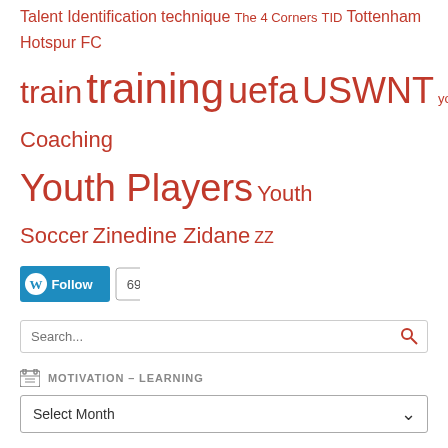Talent Identification  technique  The 4 Corners  TID  Tottenham Hotspur FC  train  training  uefa  USWNT  youth  Youth Coaching  Youth Players  Youth Soccer  Zinedine Zidane  ZZ
[Figure (other): WordPress Follow button with follower count 69]
Search...
MOTIVATION – LEARNING
Select Month
CATEGORIES
Analysis
Articles
Attacking
Best Performance Guide
Coaching Courses